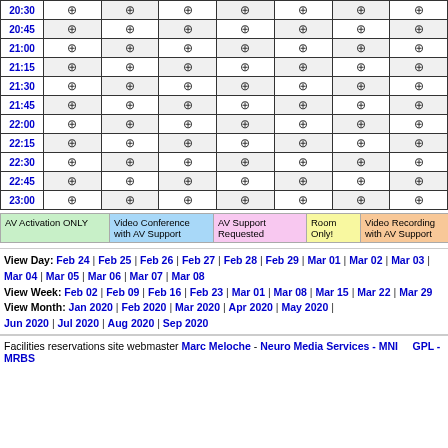| Time |  |  |  |  |  |  |  |
| --- | --- | --- | --- | --- | --- | --- | --- |
| 20:30 | ⊕ | ⊕ | ⊕ | ⊕ | ⊕ | ⊕ | ⊕ |
| 20:45 | ⊕ | ⊕ | ⊕ | ⊕ | ⊕ | ⊕ | ⊕ |
| 21:00 | ⊕ | ⊕ | ⊕ | ⊕ | ⊕ | ⊕ | ⊕ |
| 21:15 | ⊕ | ⊕ | ⊕ | ⊕ | ⊕ | ⊕ | ⊕ |
| 21:30 | ⊕ | ⊕ | ⊕ | ⊕ | ⊕ | ⊕ | ⊕ |
| 21:45 | ⊕ | ⊕ | ⊕ | ⊕ | ⊕ | ⊕ | ⊕ |
| 22:00 | ⊕ | ⊕ | ⊕ | ⊕ | ⊕ | ⊕ | ⊕ |
| 22:15 | ⊕ | ⊕ | ⊕ | ⊕ | ⊕ | ⊕ | ⊕ |
| 22:30 | ⊕ | ⊕ | ⊕ | ⊕ | ⊕ | ⊕ | ⊕ |
| 22:45 | ⊕ | ⊕ | ⊕ | ⊕ | ⊕ | ⊕ | ⊕ |
| 23:00 | ⊕ | ⊕ | ⊕ | ⊕ | ⊕ | ⊕ | ⊕ |
AV Activation ONLY | Video Conference with AV Support | AV Support Requested | Room Only! | Video Recording with AV Support
View Day: Feb 24 | Feb 25 | Feb 26 | Feb 27 | Feb 28 | Feb 29 | Mar 01 | Mar 02 | Mar 03 | Mar 04 | Mar 05 | Mar 06 | Mar 07 | Mar 08 View Week: Feb 02 | Feb 09 | Feb 16 | Feb 23 | Mar 01 | Mar 08 | Mar 15 | Mar 22 | Mar 29 View Month: Jan 2020 | Feb 2020 | Mar 2020 | Apr 2020 | May 2020 | Jun 2020 | Jul 2020 | Aug 2020 | Sep 2020
Facilities reservations site webmaster Marc Meloche - Neuro Media Services - MNI      GPL - MRBS